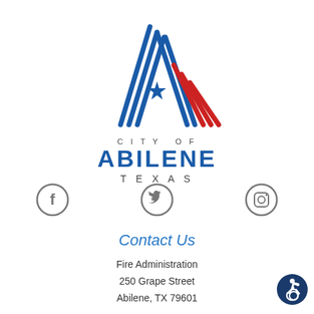[Figure (logo): City of Abilene Texas official logo with blue diagonal lines forming an A shape with red stripes and a blue star]
[Figure (infographic): Three social media icons: Facebook, Twitter, Instagram - displayed in gray circle outlines]
Contact Us
Fire Administration
250 Grape Street
Abilene, TX 79601
(325) 676-6676
Contact Us
[Figure (logo): Accessibility icon - person in wheelchair inside dark blue circle]